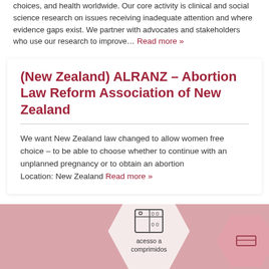choices, and health worldwide. Our core activity is clinical and social science research on issues receiving inadequate attention and where evidence gaps exist. We partner with advocates and stakeholders who use our research to improve… Read more »
(New Zealand) ALRANZ – Abortion Law Reform Association of New Zealand
We want New Zealand law changed to allow women free choice – to be able to choose whether to continue with an unplanned pregnancy or to obtain an abortion
Location: New Zealand Read more »
[Figure (infographic): Pink hexagon shape containing a database/grid icon with label 'acesso a comprimidos', beside another partial pink hexagon]